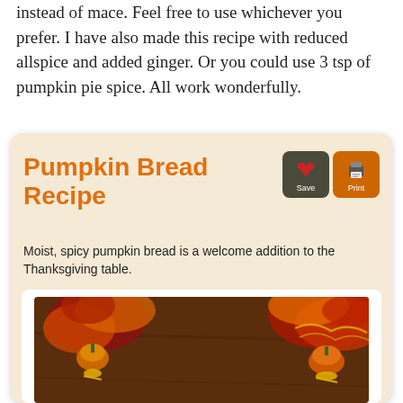instead of mace. Feel free to use whichever you prefer. I have also made this recipe with reduced allspice and added ginger. Or you could use 3 tsp of pumpkin pie spice. All work wonderfully.
Pumpkin Bread Recipe
Moist, spicy pumpkin bread is a welcome addition to the Thanksgiving table.
[Figure (photo): Photo of a pumpkin bread loaf on a green rectangular plate placed on newspaper, surrounded by autumn decorations including small pumpkins with gold ribbons and red/gold foliage arrangements on a dark brown wooden table.]